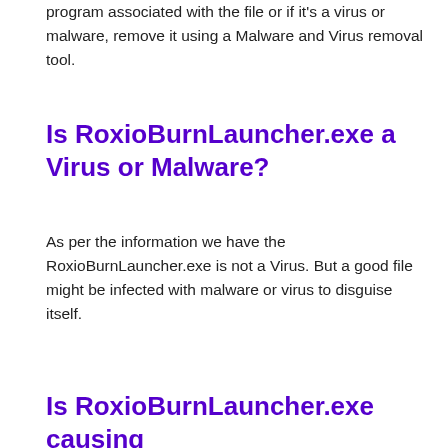program associated with the file or if it's a virus or malware, remove it using a Malware and Virus removal tool.
Is RoxioBurnLauncher.exe a Virus or Malware?
As per the information we have the RoxioBurnLauncher.exe is not a Virus. But a good file might be infected with malware or virus to disguise itself.
Is RoxioBurnLauncher.exe causing